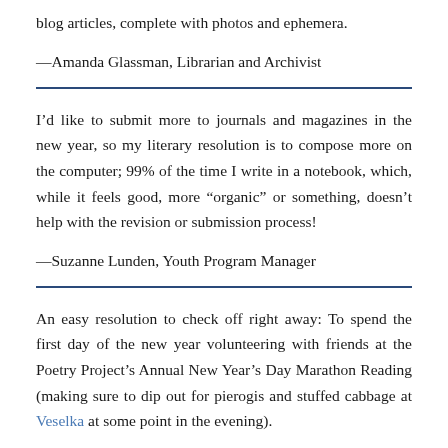blog articles, complete with photos and ephemera.
—Amanda Glassman, Librarian and Archivist
I’d like to submit more to journals and magazines in the new year, so my literary resolution is to compose more on the computer; 99% of the time I write in a notebook, which, while it feels good, more “organic” or something, doesn’t help with the revision or submission process!
—Suzanne Lunden, Youth Program Manager
An easy resolution to check off right away: To spend the first day of the new year volunteering with friends at the Poetry Project’s Annual New Year’s Day Marathon Reading (making sure to dip out for pierogis and stuffed cabbage at Veselka at some point in the evening).